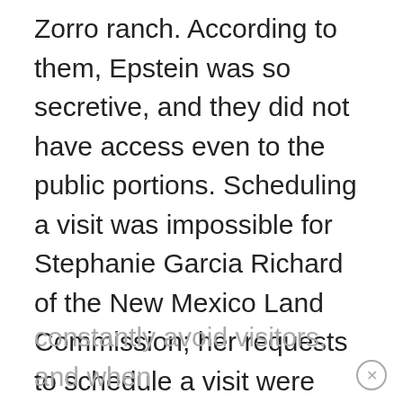Zorro ranch. According to them, Epstein was so secretive, and they did not have access even to the public portions. Scheduling a visit was impossible for Stephanie Garcia Richard of the New Mexico Land Commission; her requests to schedule a visit were ignored, so she went unannounced. Privacy is made possible by the surveillance cameras on nearly every corner, fencing, secured gates, and employees who act as if they have been sworn to secrecy. They
constantly avoid visitors, and when